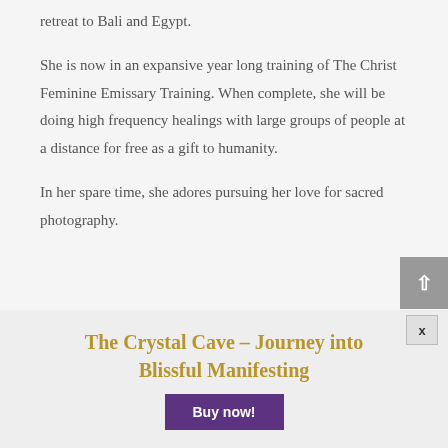retreat to Bali and Egypt.
She is now in an expansive year long training of The Christ Feminine Emissary Training. When complete, she will be doing high frequency healings with large groups of people at a distance for free as a gift to humanity.
In her spare time, she adores pursuing her love for sacred photography.
The Crystal Cave – Journey into Blissful Manifesting
Buy now!